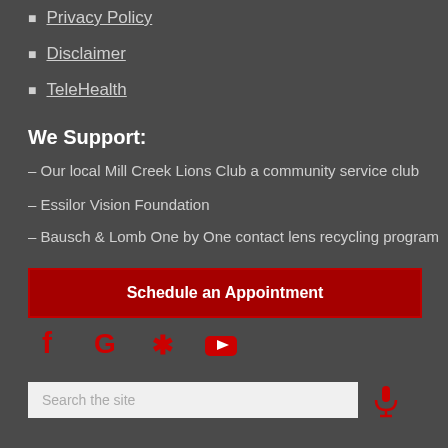Privacy Policy
Disclaimer
TeleHealth
We Support:
– Our local Mill Creek Lions Club a community service club
– Essilor Vision Foundation
– Bausch & Lomb One by One contact lens recycling program
[Figure (other): Schedule an Appointment button (red background)]
[Figure (other): Social media icons: Facebook, Google, Yelp, YouTube in red]
[Figure (other): Search bar with microphone icon]